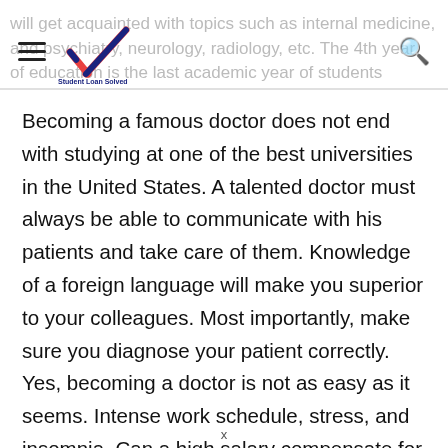will get acquainted with topics such as internal medicine, and psychiatry, neurology, radiology, etc. The 4th year of education is the last academic year of students
Becoming a famous doctor does not end with studying at one of the best universities in the United States. A talented doctor must always be able to communicate with his patients and take care of them. Knowledge of a foreign language will make you superior to your colleagues. Most importantly, make sure you diagnose your patient correctly. Yes, becoming a doctor is not as easy as it seems. Intense work schedule, stress, and insomnia. Can a high salary compensate for all these stresses? Saving your patient's life will motivate you again,